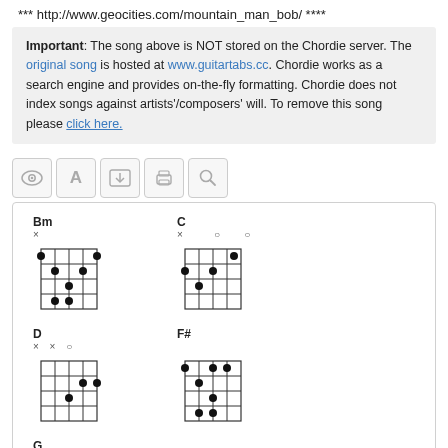*** http://www.geocities.com/mountain_man_bob/ ****
Important: The song above is NOT stored on the Chordie server. The original song is hosted at www.guitartabs.cc. Chordie works as a search engine and provides on-the-fly formatting. Chordie does not index songs against artists'/composers' will. To remove this song please click here.
[Figure (screenshot): Toolbar with icons: eye, letter A, download, printer, magnifying glass]
[Figure (illustration): Guitar chord diagrams for Bm, C, D, F#, G chords shown as fretboard grids with dot fingering positions]
Transpose (0)